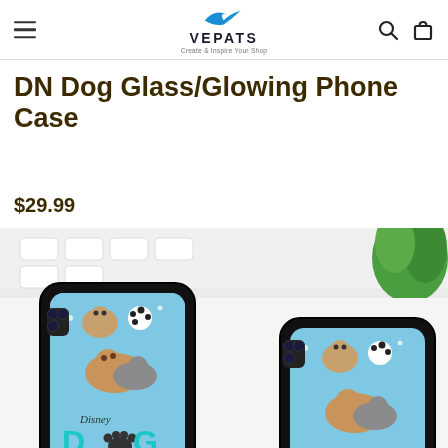VEPATS
DN Dog Glass/Glowing Phone Case
$29.99
[Figure (photo): Two iPhone cases with Disney Dog themed design showing cartoon dogs (from Lady and the Tramp, 101 Dalmatians, etc.) on a light blue background with 'Disney Dog' text and paw print. Cases are displayed on a white surface with green plant in background.]